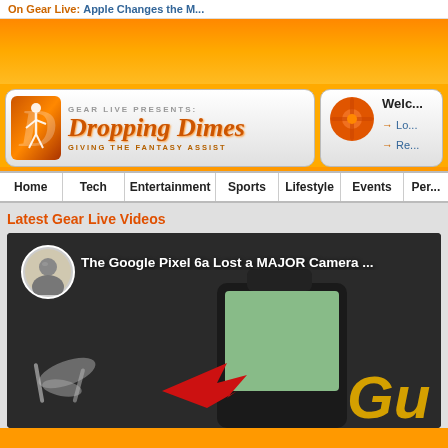On Gear Live: Apple Changes the M...
[Figure (logo): Dropping Dimes logo — Gear Live Presents: Dropping Dimes — Giving the Fantasy Assist]
[Figure (infographic): Welcome panel with orange circular nav icon, showing Login and Register links]
Home
Tech
Entertainment
Sports
Lifestyle
Events
Per...
Latest Gear Live Videos
[Figure (screenshot): Video thumbnail: The Google Pixel 6a Lost a MAJOR Camera ... — shows host avatar, phone image with red arrow, gold GU text]